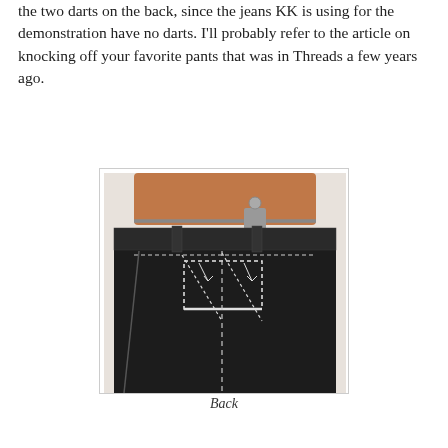the two darts on the back, since the jeans KK is using for the demonstration have no darts. I'll probably refer to the article on knocking off your favorite pants that was in Threads a few years ago.
[Figure (photo): Back view of dark trousers hanging on a wooden hanger with a metal clip, showing white hand-basting stitches marking the back pocket placement and seam lines on the black fabric.]
Back